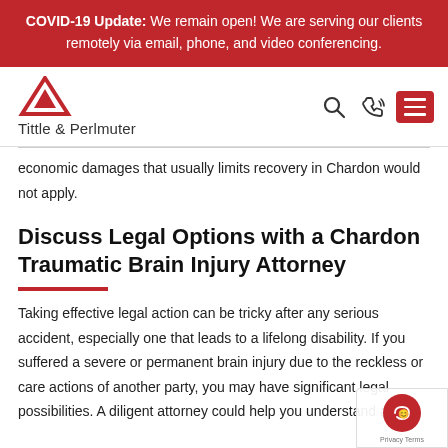COVID-19 Update: We remain open! We are serving our clients remotely via email, phone, and video conferencing.
[Figure (logo): Tittle & Perlmuter law firm logo with red triangle icon and firm name text, plus search, phone, and menu icons on the right]
economic damages that usually limits recovery in Chardon would not apply.
Discuss Legal Options with a Chardon Traumatic Brain Injury Attorney
Taking effective legal action can be tricky after any serious accident, especially one that leads to a lifelong disability. If you suffered a severe or permanent brain injury due to the reckless or care actions of another party, you may have significant legal possibilities. A diligent attorney could help you understand all